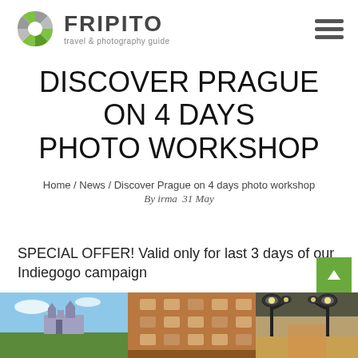FRIPITO travel & photography guide
DISCOVER PRAGUE ON 4 DAYS PHOTO WORKSHOP
Home / News / Discover Prague on 4 days photo workshop
By irma  31 May
SPECIAL OFFER! Valid only for last 3 days of our Indiegogo campaign
[Figure (photo): Three photos of Prague: castle landscape, historic building facade, and decorative street lamps]